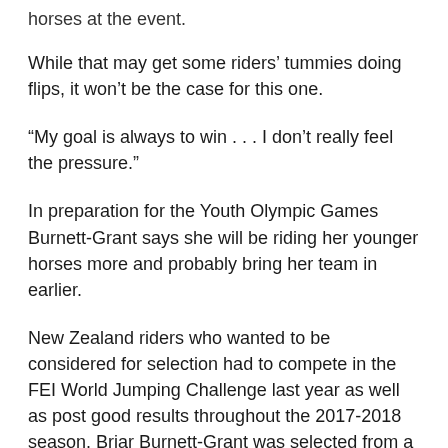horses at the event.
While that may get some riders' tummies doing flips, it won't be the case for this one.
“My goal is always to win . . . I don’t really feel the pressure.”
In preparation for the Youth Olympic Games Burnett-Grant says she will be riding her younger horses more and probably bring her team in earlier.
New Zealand riders who wanted to be considered for selection had to compete in the FEI World Jumping Challenge last year as well as post good results throughout the 2017-2018 season. Briar Burnett-Grant was selected from a shortlist which included Leeshelle Small, Matt Irvine and Steffi Whittaker.
The Youth Olympic Games are the world’s largest